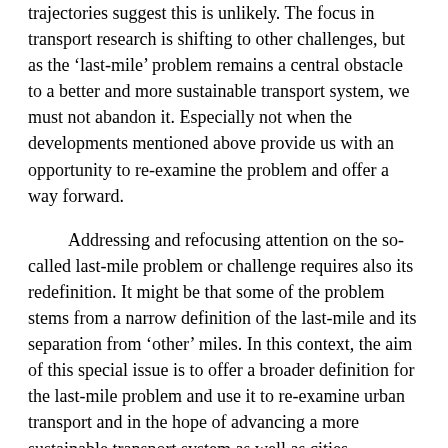trajectories suggest this is unlikely. The focus in transport research is shifting to other challenges, but as the 'last-mile' problem remains a central obstacle to a better and more sustainable transport system, we must not abandon it. Especially not when the developments mentioned above provide us with an opportunity to re-examine the problem and offer a way forward.
Addressing and refocusing attention on the so-called last-mile problem or challenge requires also its redefinition. It might be that some of the problem stems from a narrow definition of the last-mile and its separation from 'other' miles. In this context, the aim of this special issue is to offer a broader definition for the last-mile problem and use it to re-examine urban transport and in the hope of advancing a more sustainable transport system as well as cities.
The First, Last and Only (One) Mile Problem